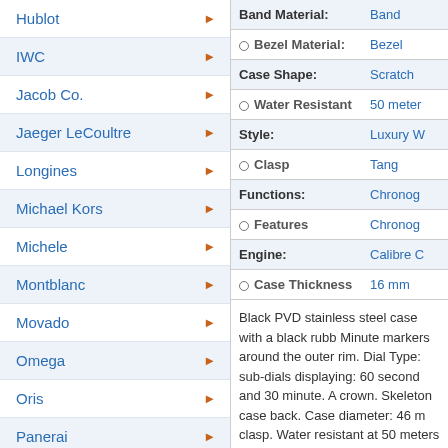Hublot
IWC
Jacob Co.
Jaeger LeCoultre
Longines
Michael Kors
Michele
Montblanc
Movado
Omega
Oris
Panerai
Patek Philippe
Piaget
Rado
Raymond Weil
| Attribute | Value |
| --- | --- |
| Band Material: | Band |
| Bezel Material: | Bezel |
| Case Shape: | Scratch |
| Water Resistant | 50 meter |
| Style: | Luxury W |
| Clasp | Tang |
| Functions: | Chronog |
| Features | Chronog |
| Engine: | Calibre C |
| Case Thickness | 16 mm |
Black PVD stainless steel case with a black rubb Minute markers around the outer rim. Dial Type: sub-dials displaying: 60 second and 30 minute. A crown. Skeleton case back. Case diameter: 46 m clasp. Water resistant at 50 meters / 165 feet. Fu watch style. Watch label: Swiss Made. Graham C